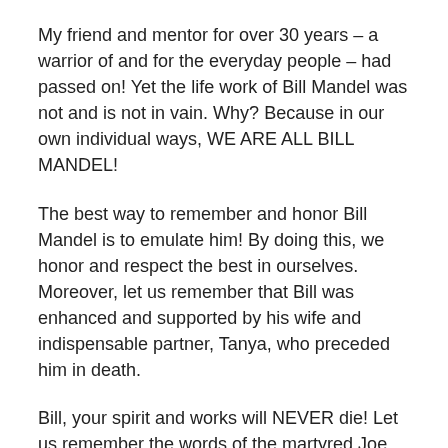My friend and mentor for over 30 years – a warrior of and for the everyday people – had passed on! Yet the life work of Bill Mandel was not and is not in vain. Why? Because in our own individual ways, WE ARE ALL BILL MANDEL!
The best way to remember and honor Bill Mandel is to emulate him! By doing this, we honor and respect the best in ourselves. Moreover, let us remember that Bill was enhanced and supported by his wife and indispensable partner, Tanya, who preceded him in death.
Bill, your spirit and works will NEVER die! Let us remember the words of the martyred Joe Hill, who said, “Don’t mourn. Organize!”
ALL POWER TO THE PEOPLE – Black, White, Brown, Red and